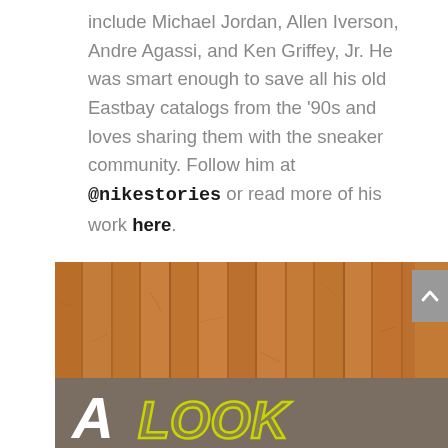include Michael Jordan, Allen Iverson, Andre Agassi, and Ken Griffey, Jr. He was smart enough to save all his old Eastbay catalogs from the '90s and loves sharing them with the sneaker community. Follow him at @nikestories or read more of his work here.
[Figure (photo): Wood plank background with 'A LOOK' text logo on a gray-brown banner at the bottom]